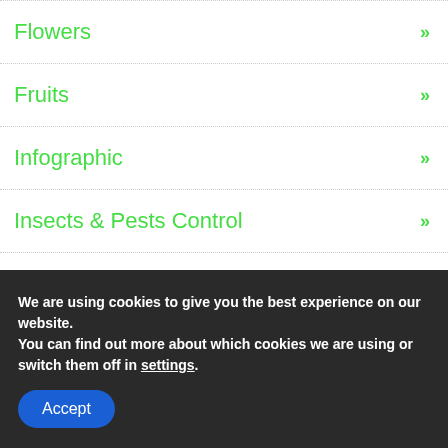Flowers »
Fruits »
Infographic »
Insects & Pests Control »
Vegetables »
Funny Gardening T-Shirt
We are using cookies to give you the best experience on our website.
You can find out more about which cookies we are using or switch them off in settings.
Accept